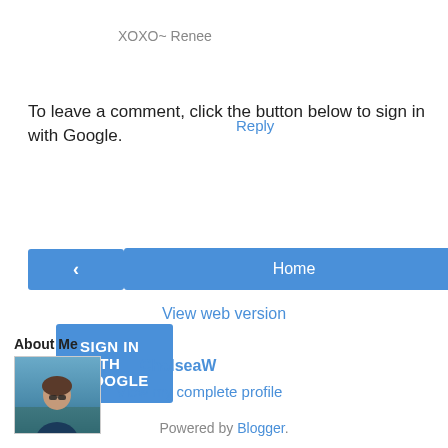XOXO~ Renee
Reply
To leave a comment, click the button below to sign in with Google.
SIGN IN WITH GOOGLE
‹
Home
›
View web version
About Me
[Figure (photo): Profile photo of ChelseaW outdoors near water]
ChelseaW
View my complete profile
Powered by Blogger.